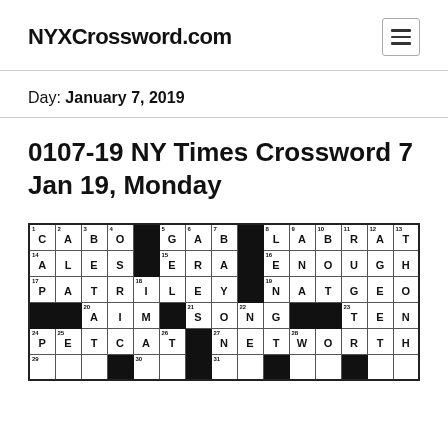NYXCrossword.com
Day: January 7, 2019
0107-19 NY Times Crossword 7 Jan 19, Monday
[Figure (other): Partial crossword puzzle grid showing answers including CABO, GAB, LABRAT, ALES, ERA, ENOUGH, PATRILEY, NATGEO, AIM, SONG, TENT, PETCAT, NETWORTH and more]